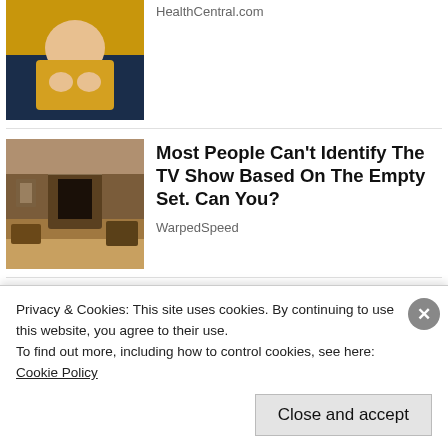HealthCentral.com
[Figure (photo): Person in yellow sweater sitting on couch, hands clasped]
[Figure (photo): Empty TV show set with fireplace and furniture in a room]
Most People Can't Identify The TV Show Based On The Empty Set. Can You?
WarpedSpeed
[Figure (photo): Close-up of a lancet device being pressed against a finger for blood glucose testing]
Privacy & Cookies: This site uses cookies. By continuing to use this website, you agree to their use.
To find out more, including how to control cookies, see here: Cookie Policy
Close and accept